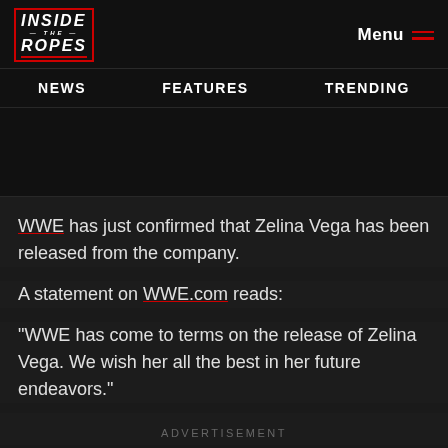INSIDE THE ROPES
Menu | NEWS | FEATURES | TRENDING
WWE has just confirmed that Zelina Vega has been released from the company.
A statement on WWE.com reads:
“WWE has come to terms on the release of Zelina Vega. We wish her all the best in her future endeavors.”
ADVERTISEMENT